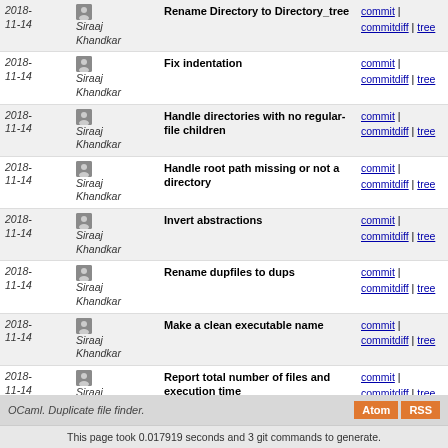| Date | Author | Message | Links |
| --- | --- | --- | --- |
| 2018-11-14 | Siraaj Khandkar | Rename Directory to Directory_tree | commit | commitdiff | tree |
| 2018-11-14 | Siraaj Khandkar | Fix indentation | commit | commitdiff | tree |
| 2018-11-14 | Siraaj Khandkar | Handle directories with no regular-file children | commit | commitdiff | tree |
| 2018-11-14 | Siraaj Khandkar | Handle root path missing or not a directory | commit | commitdiff | tree |
| 2018-11-14 | Siraaj Khandkar | Invert abstractions | commit | commitdiff | tree |
| 2018-11-14 | Siraaj Khandkar | Rename dupfiles to dups | commit | commitdiff | tree |
| 2018-11-14 | Siraaj Khandkar | Make a clean executable name | commit | commitdiff | tree |
| 2018-11-14 | Siraaj Khandkar | Report total number of files and execution time | commit | commitdiff | tree |
| 2018-11-14 | Siraaj Khandkar | Implement recursive directory walk stream | commit | commitdiff | tree |
| 2018-11-14 | Siraaj Khandkar | Initial prototype | commit | commitdiff | tree |
| 2018-11-14 | Siraaj Khandkar | Root commit | commit | commitdiff | tree |
OCaml. Duplicate file finder.
This page took 0.017919 seconds and 3 git commands to generate.